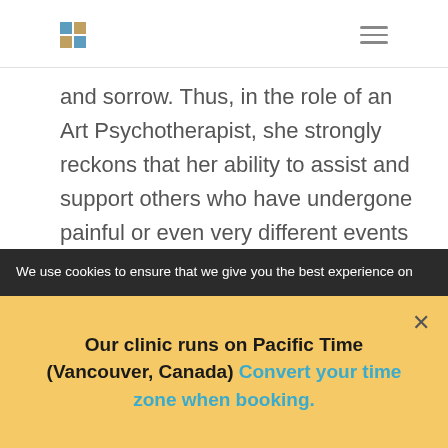[logo] [hamburger menu]
and sorrow. Thus, in the role of an Art Psychotherapist, she strongly reckons that her ability to assist and support others who have undergone painful or even very different events of adverse natures can be very well-recognized. She feels that Art possesses a healing effect on its own. As someone who admires creativity and also values being a teacher
We use cookies to ensure that we give you the best experience on
Our clinic runs on Pacific Time (Vancouver, Canada) Convert your time zone when booking.